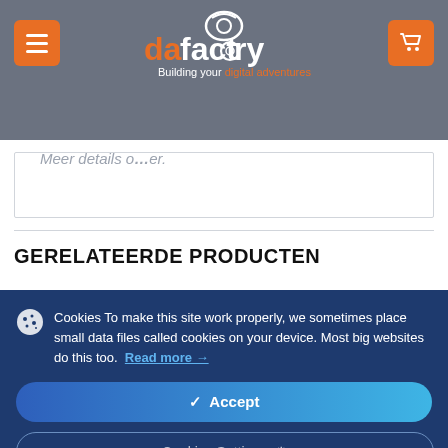[Figure (screenshot): Website navigation bar with hamburger menu button on left (orange), da factory logo in center with camera lens icon and tagline 'Building your digital adventures', shopping cart button on right (orange), all on gray background]
Meer details o... er.
GERELATEERDE PRODUCTEN
Cookies To make this site work properly, we sometimes place small data files called cookies on your device. Most big websites do this too. Read more →
✓ Accept
Cookies Settings ⚙